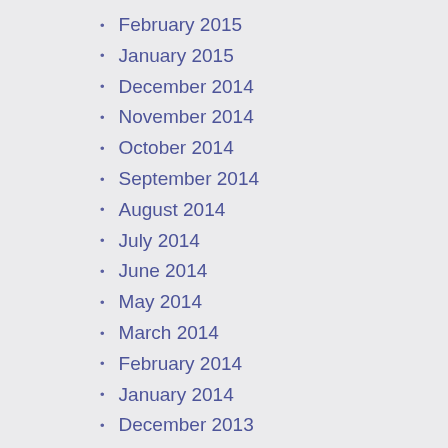February 2015
January 2015
December 2014
November 2014
October 2014
September 2014
August 2014
July 2014
June 2014
May 2014
March 2014
February 2014
January 2014
December 2013
November 2013
October 2013
September 2013
August 2013